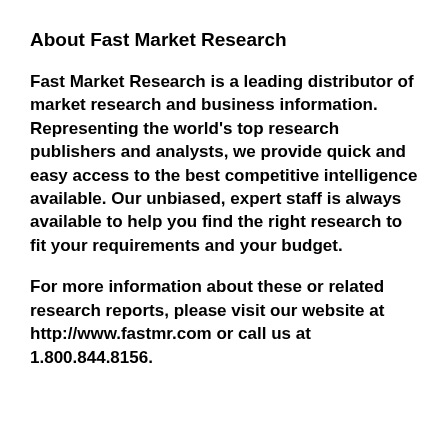About Fast Market Research
Fast Market Research is a leading distributor of market research and business information. Representing the world's top research publishers and analysts, we provide quick and easy access to the best competitive intelligence available. Our unbiased, expert staff is always available to help you find the right research to fit your requirements and your budget.
For more information about these or related research reports, please visit our website at http://www.fastmr.com or call us at 1.800.844.8156.